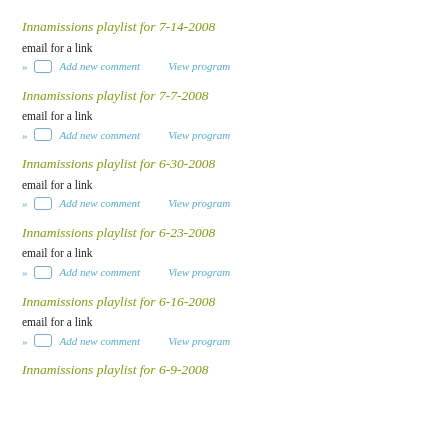Innamissions playlist for 7-14-2008
email for a link
» Add new comment   View program
Innamissions playlist for 7-7-2008
email for a link
» Add new comment   View program
Innamissions playlist for 6-30-2008
email for a link
» Add new comment   View program
Innamissions playlist for 6-23-2008
email for a link
» Add new comment   View program
Innamissions playlist for 6-16-2008
email for a link
» Add new comment   View program
Innamissions playlist for 6-9-2008